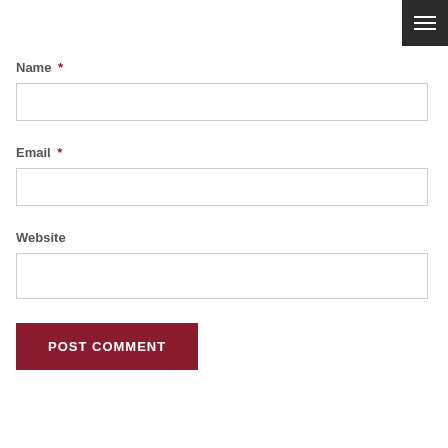[Figure (other): Hamburger menu icon button in dark background, top-right corner]
Name *
[Figure (other): Empty text input field for Name]
Email *
[Figure (other): Empty text input field for Email]
Website
[Figure (other): Empty text input field for Website]
POST COMMENT